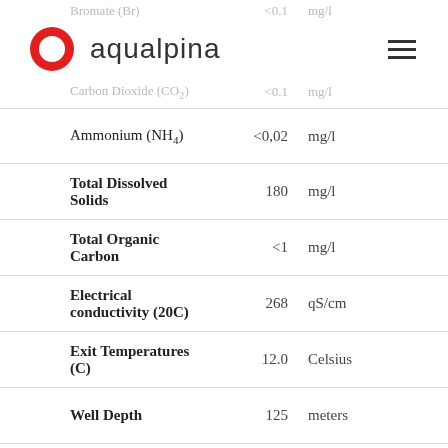Bromate (Br) — <0.1 — mg/l
[Figure (logo): Aqualpina logo: red circle/ring with text 'aqualpina' and hamburger menu icon]
Carbon Dioxide (CO2) — <0.1 — mg/l
| Parameter | Value | Unit |
| --- | --- | --- |
| Ammonium (NH4) | <0,02 | mg/l |
| Total Dissolved Solids | 180 | mg/l |
| Total Organic Carbon | <1 | mg/l |
| Electrical conductivity (20C) | 268 | qS/cm |
| Exit Temperatures (C) | 12.0 | Celsius |
| Well Depth | 125 | meters |